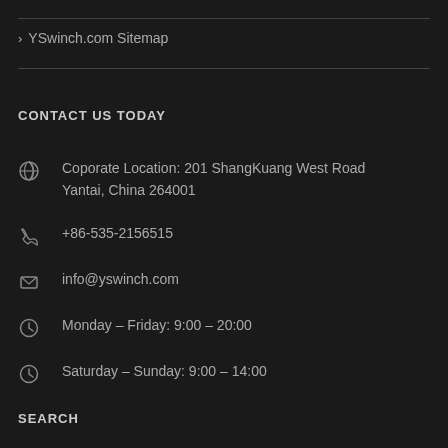> YSwinch.com Sitemap
CONTACT US TODAY
Coporate Location: 201 ShangKuang West Road Yantai, China 264001
+86-535-2156515
info@yswinch.com
Monday – Friday: 9:00 – 20:00
Saturday – Sunday: 9:00 – 14:00
SEARCH